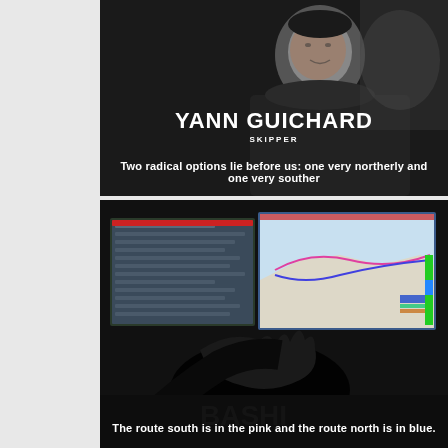[Figure (screenshot): Video screenshot of a man (Yann Guichard, Skipper) speaking, overlaid with white bold text name 'YANN GUICHARD' and subtitle 'SKIPPER', with caption text at bottom: 'Two radical options lie before us: one very northerly and one very souther']
[Figure (screenshot): Video screenshot showing two computer screens with navigation/routing software and a map with colored route lines (pink and blue), with a hand pointing at the right screen. Caption: 'The route south is in the pink and the route north is in blue.']